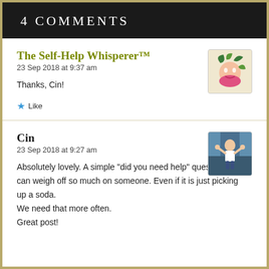4 Comments
The Self-Help Whisperer™
23 Sep 2018 at 9:37 am

Thanks, Cin!

★ Like
Cin
23 Sep 2018 at 9:27 am

Absolutely lovely. A simple "did you need help" question can weigh off so much on someone. Even if it is just picking up a soda.
We need that more often.
Great post!